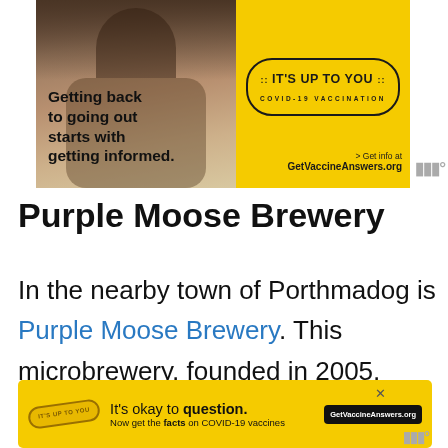[Figure (infographic): COVID-19 vaccination advertisement banner. Left side shows a photo of two people with text 'Getting back to going out starts with getting informed.' Right yellow side has a stamp badge reading 'IT'S UP TO YOU COVID-19 VACCINATION' and text '> Get info at GetVaccineAnswers.org']
Purple Moose Brewery
In the nearby town of Porthmadog is Purple Moose Brewery. This microbrewery, founded in 2005, brews a se...
[Figure (infographic): COVID-19 vaccination advertisement banner at bottom. Yellow background with stamp logo 'IT'S UP TO YOU', text: 'It's okay to question. Now get the facts on COVID-19 vaccines GetVaccineAnswers.org']